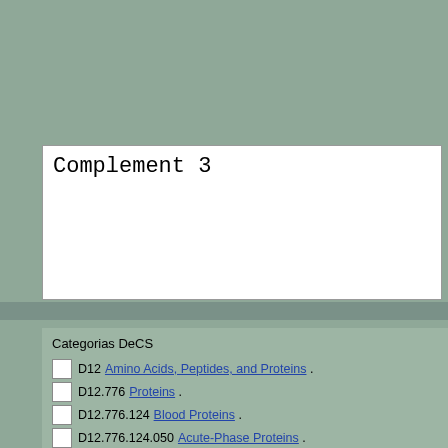Complement 3
Categorias DeCS
D12 Amino Acids, Peptides, and Proteins .
D12.776 Proteins .
D12.776.124 Blood Proteins .
D12.776.124.050 Acute-Phase Proteins .
D12.776.124.050.140 Complement C3 .
D12.776.124.486 Immunoproteins .
D12.776.124.486.274 Complement System Proteins .
D12.776.124.486.274.250 Complement C3 .
D12.776.543 Membrane Proteins .
D12.776.543.750 Receptors, Cell Surface .
D12.776.543.750.705 Receptors, Immunologic .
D12.776.543.750.705.408 Integrins .
D12.776.543.750.705.408.495 Receptors, Fibrinogen .